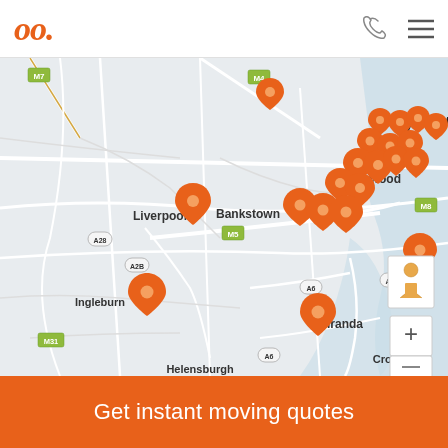Oneflare logo, phone icon, menu icon
[Figure (map): Google-style map of Sydney metropolitan area showing orange location pins clustered around Sydney CBD, Mascot, Burwood, Bankstown, Liverpool, Ingleburn, Miranda areas. Map labels include M7, M4, M5, M8, A1, A6, A2B, A28, B69, M31, Burwood, Bankstown, Liverpool, Ingleburn, Sydney, Mascot, Miranda, Cronulla, Campbelltown, Helensburg. A pegman/street-view icon and zoom controls appear on the right side.]
Get instant moving quotes